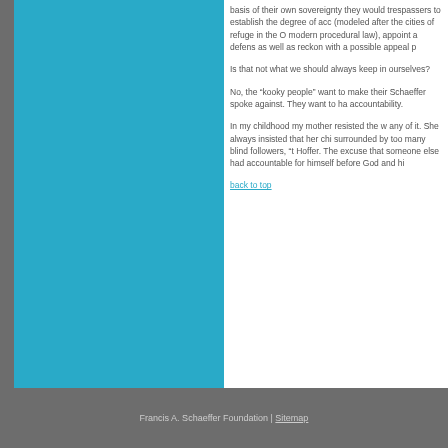basis of their own sovereignty they would trespassers to establish the degree of acc (modeled after the cities of refuge in the O modern procedural law), appoint a defens as well as reckon with a possible appeal p
Is that not what we should always keep in ourselves?
No, the “kooky people” want to make their Schaeffer spoke against. They want to ha accountability.
In my childhood my mother resisted the w any of it. She always insisted that her chi surrounded by too many blind followers, “t Hoffer. The excuse that someone else had accountable for himself before God and hi
back to top
Francis A. Schaeffer Foundation | Sitemap